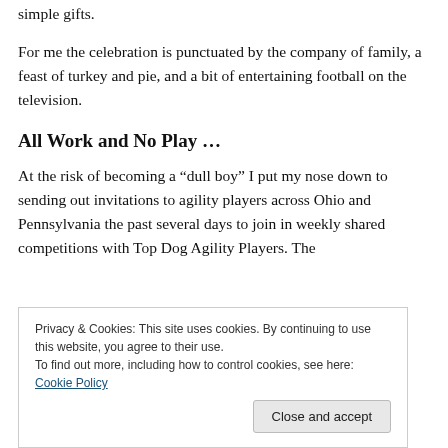simple gifts.
For me the celebration is punctuated by the company of family, a feast of turkey and pie, and a bit of entertaining football on the television.
All Work and No Play …
At the risk of becoming a “dull boy” I put my nose down to sending out invitations to agility players across Ohio and Pennsylvania the past several days to join in weekly shared competitions with Top Dog Agility Players. The
Privacy & Cookies: This site uses cookies. By continuing to use this website, you agree to their use.
To find out more, including how to control cookies, see here: Cookie Policy
[Close and accept]